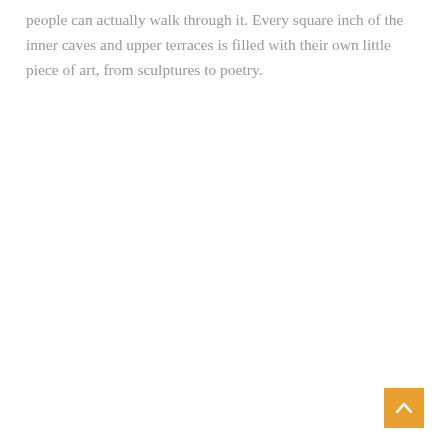people can actually walk through it. Every square inch of the inner caves and upper terraces is filled with their own little piece of art, from sculptures to poetry.
[Figure (other): Orange/amber square button with a white upward-pointing chevron arrow, used as a scroll-to-top navigation element]